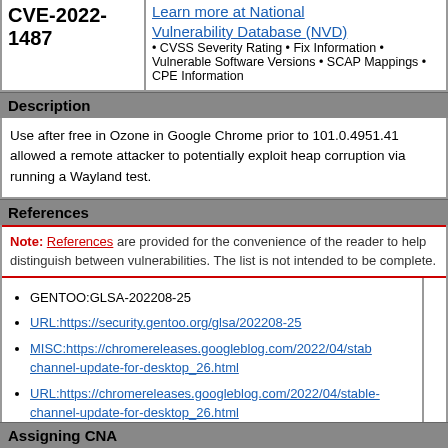CVE-2022-1487
Learn more at National Vulnerability Database (NVD)
• CVSS Severity Rating • Fix Information • Vulnerable Software Versions • SCAP Mappings • CPE Information
Description
Use after free in Ozone in Google Chrome prior to 101.0.4951.41 allowed a remote attacker to potentially exploit heap corruption via running a Wayland test.
References
Note: References are provided for the convenience of the reader to help distinguish between vulnerabilities. The list is not intended to be complete.
GENTOO:GLSA-202208-25
URL:https://security.gentoo.org/glsa/202208-25
MISC:https://chromereleases.googleblog.com/2022/04/stable-channel-update-for-desktop_26.html
URL:https://chromereleases.googleblog.com/2022/04/stable-channel-update-for-desktop_26.html
MISC:https://crbug.com/1304368
URL:https://crbug.com/1304368
Assigning CNA